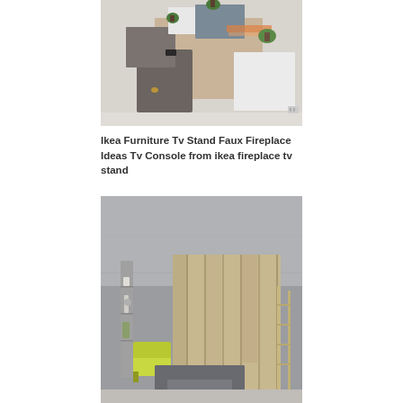[Figure (photo): Wall-mounted modular furniture units in grey, white, and wood tones with small plants and warm accent lighting, arranged in an overlapping geometric display]
Ikea Furniture Tv Stand Faux Fireplace Ideas Tv Console from ikea fireplace tv stand
[Figure (photo): Modern living room interior with grey walls, a large beige/tan shelving unit with vertical panels, a yellow-green chair, a grey sofa, a ladder-style coat rack, and a slim grey shelving unit on the left]